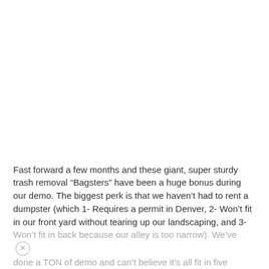Fast forward a few months and these giant, super sturdy trash removal “Bagsters” have been a huge bonus during our demo. The biggest perk is that we haven’t had to rent a dumpster (which 1- Requires a permit in Denver, 2- Won’t fit in our front yard without tearing up our landscaping, and 3- Won’t fit in back because our alley is too narrow). We’ve done a TON of demo and can’t believe it’s all fit in five